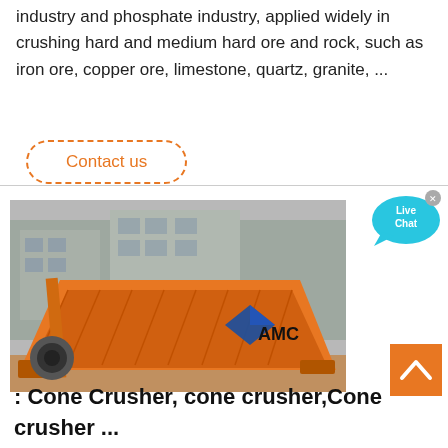industry and phosphate industry, applied widely in crushing hard and medium hard ore and rock, such as iron ore, copper ore, limestone, quartz, granite, ...
Contact us
[Figure (photo): Orange industrial vibrating screen / ore crusher machine parked outdoors with industrial buildings in background, branded with AMC logo]
[Figure (illustration): Live Chat bubble icon in cyan/blue]
: Cone Crusher, cone crusher,Cone crusher ...